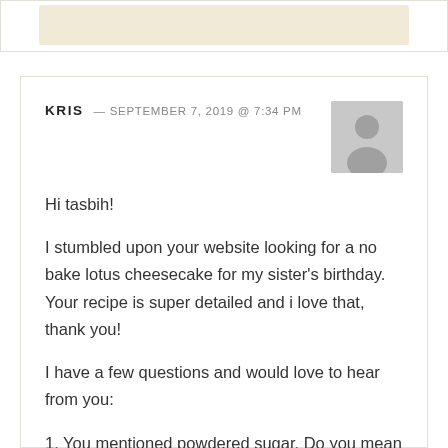[Figure (other): Partial top section of a previous comment card with a beige/cream colored content area visible at the top of the page]
KRIS — SEPTEMBER 7, 2019 @ 7:34 PM
Hi tasbih!
I stumbled upon your website looking for a no bake lotus cheesecake for my sister's birthday. Your recipe is super detailed and i love that, thank you!
I have a few questions and would love to hear from you:
1. You mentioned powdered sugar. Do you mean confectioners/icing sugar?
2. What brand of heavy whipping cream do you use? In dubai it's hard to find heavy whipping cream for